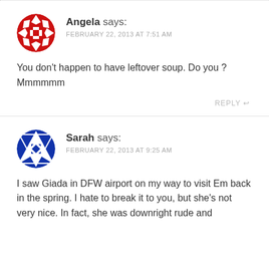[Figure (illustration): Red and white circular avatar icon with geometric diamond/cross pattern for user Angela]
Angela says:
FEBRUARY 22, 2013 AT 7:51 AM
You don't happen to have leftover soup. Do you ? Mmmmmm
REPLY
[Figure (illustration): Blue and white circular avatar icon with geometric star/diamond pattern for user Sarah]
Sarah says:
FEBRUARY 22, 2013 AT 9:25 AM
I saw Giada in DFW airport on my way to visit Em back in the spring. I hate to break it to you, but she's not very nice. In fact, she was downright rude and